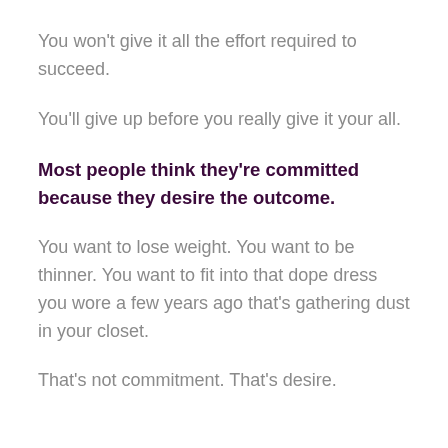You won't give it all the effort required to succeed.
You'll give up before you really give it your all.
Most people think they're committed because they desire the outcome.
You want to lose weight. You want to be thinner. You want to fit into that dope dress you wore a few years ago that's gathering dust in your closet.
That's not commitment. That's desire.